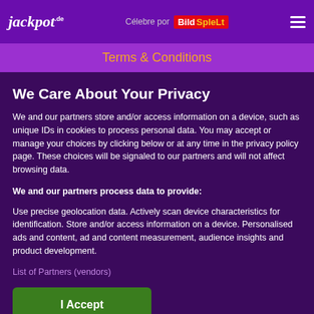jackpot.de — Célebre por BILD SPIELT
Terms & Conditions
We Care About Your Privacy
We and our partners store and/or access information on a device, such as unique IDs in cookies to process personal data. You may accept or manage your choices by clicking below or at any time in the privacy policy page. These choices will be signaled to our partners and will not affect browsing data.
We and our partners process data to provide:
Use precise geolocation data. Actively scan device characteristics for identification. Store and/or access information on a device. Personalised ads and content, ad and content measurement, audience insights and product development.
List of Partners (vendors)